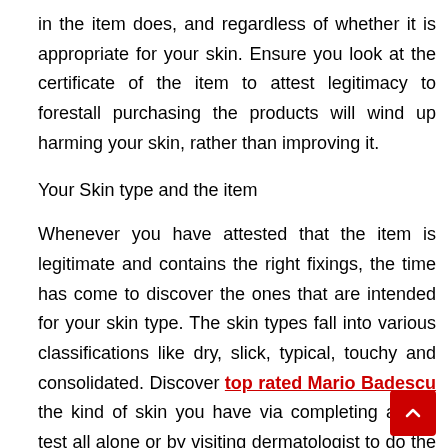in the item does, and regardless of whether it is appropriate for your skin. Ensure you look at the certificate of the item to attest legitimacy to forestall purchasing the products will wind up harming your skin, rather than improving it.
Your Skin type and the item
Whenever you have attested that the item is legitimate and contains the right fixings, the time has come to discover the ones that are intended for your skin type. The skin types fall into various classifications like dry, slick, typical, touchy and consolidated. Discover top rated Mario Badescu the kind of skin you have via completing a skin test all alone or by visiting dermatologist to do the test. At the point when you